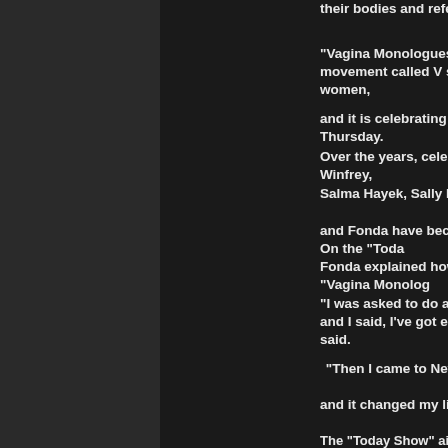their bodies and references to genitalia.
“Vagina Monologues” has spawned a movement called V— stop violence against women,
and it is celebrating its 10th anniversary on Thursday.
Over the years, celebrities including Oprah Winfrey,
Salma Hayek, Sally Field, Glenn Close
and Fonda have become involved in V-Day. On the “Toda…
Fonda explained how she first heard of “Vagina Monolog…
“I was asked to do a monologue called ‘C***,’ and I said, I’ve got enough problems,” Fonda said.
“Then I came to New York to see Eve
and it changed my life.”
The “Today Show” airs live on the U.S. East Coast, and t… muted or bleeped. Moments later program host Meredith… apologized to audiences.
“Jane Fonda inadvertently said a word from the play tha… on television.
It was a slip and obviously she apologizes and so do we.
“We would do nothing to offend the audience, so please…